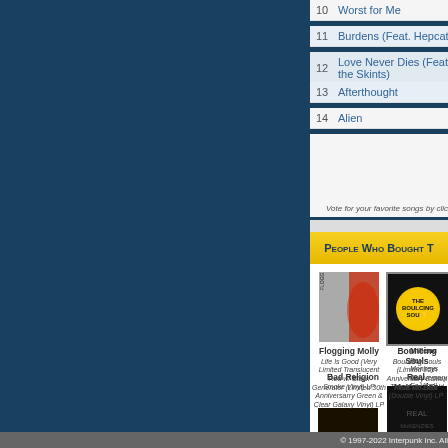10  Worst for Me
11  Burdens (Feat. Hepcat)
12  Love Never Dies (Feat. the Skints)
13  Afterthought
14  Alien
Vote for your favorite songs by click
People Who Bought T
[Figure (photo): Flogging Molly - Life Is Good album art (translucent red with black smoke vinyl)]
Flogging Molly
Life Is Good (Very Limited Translucent Red w/ Black Smoke Vinyl) LP
[Figure (photo): Bouncing Souls - Bouncing Souls album art (transparent gold vinyl)]
Bouncing Souls
Bouncing Souls (Limited 25th Anniversary Edition Transparent Gold Vinyl) LP
[Figure (photo): Millencolin - For Monkeys Anniversary Edition Vinyl album art]
Millencolin
For Monkeys Anniversary Ed. Vinyl)
[Figure (photo): Bad Religion - Generator album art with green vinyl]
Bad Religion
Generator (Limited 30th Anniversarry Green & Clear Galaxy Vinyl) LP
[Figure (photo): Real McKenzies - Float Me Boat Double Vinyl album art]
Real McKenzies
Float Me Boat (Double Vinyl) LP
© 1997-2022 Interpunk Inc. All